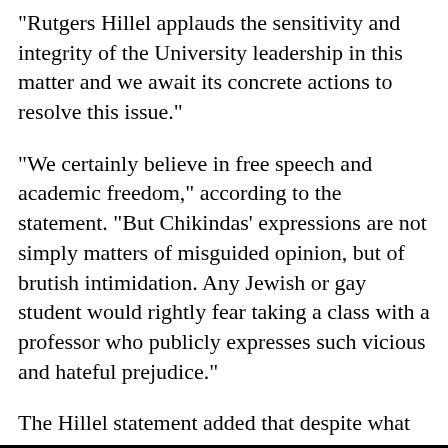"Rutgers Hillel applauds the sensitivity and integrity of the University leadership in this matter and we await its concrete actions to resolve this issue."
"We certainly believe in free speech and academic freedom," according to the statement. "But Chikindas' expressions are not simply matters of misguided opinion, but of brutish intimidation. Any Jewish or gay student would rightly fear taking a class with a professor who publicly expresses such vicious and hateful prejudice."
The Hillel statement added that despite what has happened, "Rutgers Is a Great Place To Be Jewish."